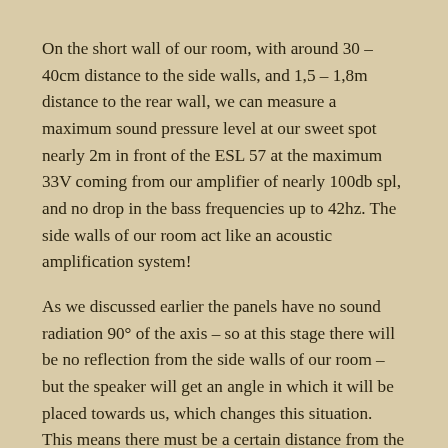On the short wall of our room, with around 30 – 40cm distance to the side walls, and 1,5 – 1,8m distance to the rear wall, we can measure a maximum sound pressure level at our sweet spot nearly 2m in front of the ESL 57 at the maximum 33V coming from our amplifier of nearly 100db spl, and no drop in the bass frequencies up to 42hz. The side walls of our room act like an acoustic amplification system!
As we discussed earlier the panels have no sound radiation 90° of the axis – so at this stage there will be no reflection from the side walls of our room – but the speaker will get an angle in which it will be placed towards us, which changes this situation. This means there must be a certain distance from the side walls if we want to have a breathing speaker and no boomy bass response! It is also a good idea to give the space behind the speakers and the